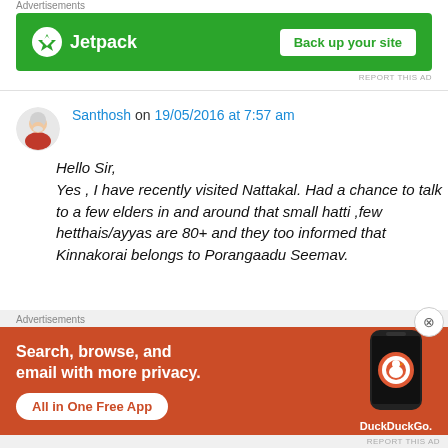Advertisements
[Figure (screenshot): Jetpack advertisement banner - green background with Jetpack logo and 'Back up your site' button]
REPORT THIS AD
Santhosh on 19/05/2016 at 7:57 am
Hello Sir,
Yes , I have recently visited Nattakal. Had a chance to talk to a few elders in and around that small hatti ,few hetthais/ayyas are 80+ and they too informed that Kinnakorai belongs to Porangaadu Seemav.
Advertisements
[Figure (screenshot): DuckDuckGo advertisement - orange background with phone mockup, text: Search, browse, and email with more privacy. All in One Free App]
REPORT THIS AD